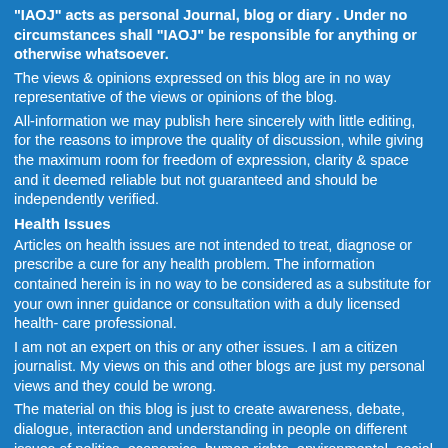"IAOJ" acts as personal Journal, blog or diary . Under no circumstances shall "IAOJ" be responsible for anything or otherwise whatsoever.
The views & opinions expressed on this blog are in no way representative of the views or opinions of the blog.
All-information we may publish here sincerely with little editing, for the reasons to improve the quality of discussion, while giving the maximum room for freedom of expression, clarity & space and it deemed reliable but not guaranteed and should be independently verified.
Health Issues
Articles on health issues are not intended to treat, diagnose or prescribe a cure for any health problem. The information contained herein is in no way to be considered as a substitute for your own inner guidance or consultation with a duly licensed health- care professional.
I am not an expert on this or any other issues. I am a citizen journalist. My views on this and other blogs are just my personal views and they could be wrong.
The material on this blog is just to create awareness, debate, dialogue, interaction and understanding in people on different issues of politics, economics, human rights, environmental, social justice, democracy, Science, culture, history and different philosophies of the world without any profit basis.